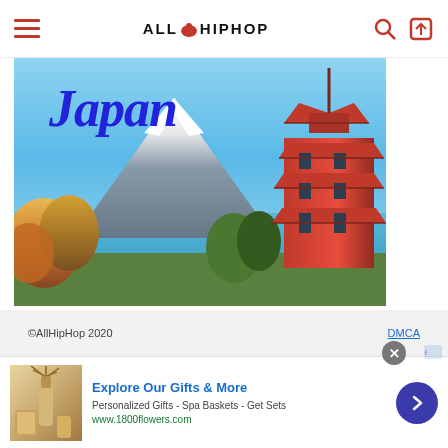AllHipHop
[Figure (illustration): Japan travel advertisement image showing Mount Fuji with snow cap, blue sky, autumn foliage trees in orange and yellow, and a red multi-tiered pagoda on the right side. The word 'Japan' is written in large blue italic script at the top.]
DISCOVER AMAZING TRAVEL SIDESTAGE.COM
©AllHipHop 2020   DMCA
[Figure (illustration): Bottom banner advertisement for 1800flowers.com showing gift products (reed diffuser, spa items), with headline 'Explore Our Gifts & More', subtext 'Personalized Gifts - Spa Baskets - Get Sets', and URL www.1800flowers.com. Includes close button and navigation chevron.]